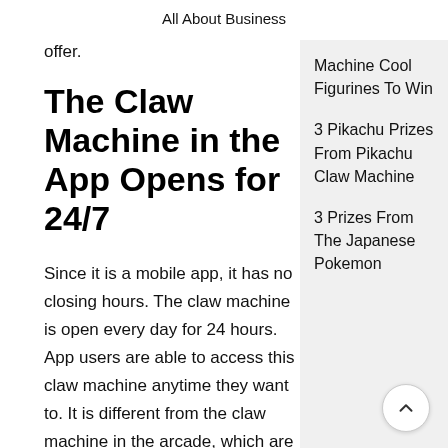All About Business
offer.
The Claw Machine in the App Opens for 24/7
Since it is a mobile app, it has no closing hours. The claw machine is open every day for 24 hours. App users are able to access this claw machine anytime they want to. It is different from the claw machine in the arcade, which are only available during the opening hours.
Machine Cool Figurines To Win
3 Pikachu Prizes From Pikachu Claw Machine
3 Prizes From The Japanese Pokemon